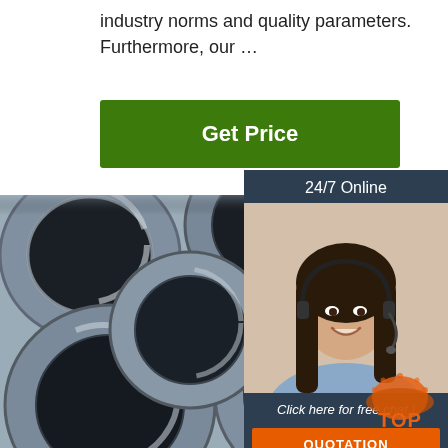industry norms and quality parameters. Furthermore, our …
[Figure (other): Green 'Get Price' button]
[Figure (photo): Stack of large industrial steel pipes viewed from the end, showing circular cross-sections]
[Figure (infographic): 24/7 Online chat widget with woman wearing headset, 'Click here for free chat!' text, and orange QUOTATION button]
[Figure (logo): TOP badge/logo in orange at bottom right]